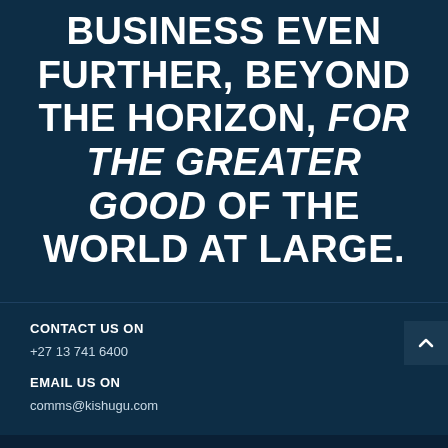BUSINESS EVEN FURTHER, BEYOND THE HORIZON, FOR THE GREATER GOOD OF THE WORLD AT LARGE.
CONTACT US ON
+27 13 741 6400
EMAIL US ON
comms@kishugu.com